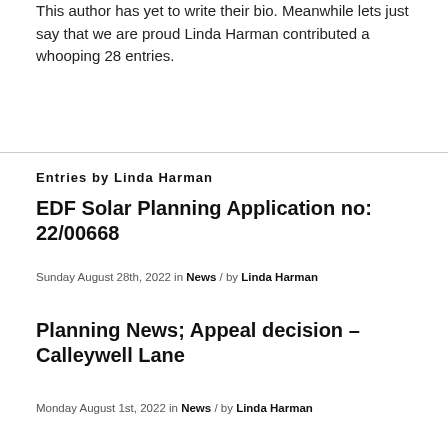This author has yet to write their bio. Meanwhile lets just say that we are proud Linda Harman contributed a whooping 28 entries.
Entries by Linda Harman
EDF Solar Planning Application no: 22/00668
Sunday August 28th, 2022 in News / by Linda Harman
Planning News; Appeal decision – Calleywell Lane
Monday August 1st, 2022 in News / by Linda Harman